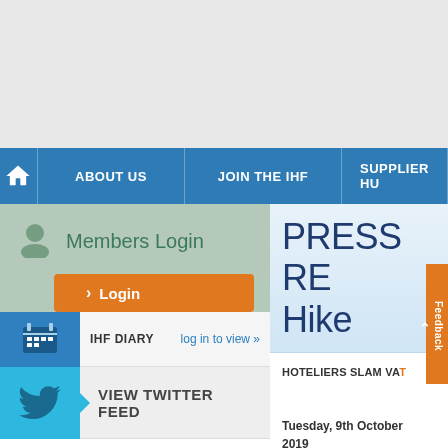[Figure (screenshot): Top grey banner area of IHF website]
Home | ABOUT US | JOIN THE IHF | SUPPLIER HU...
Members Login
Login
IHF DIARY   log in to view »
VIEW TWITTER FEED
Want to feature your Hotel on our site? Click HERE
PRESS RE... Hike
HOTELIERS SLAM VA...
Tuesday, 9th October 2019